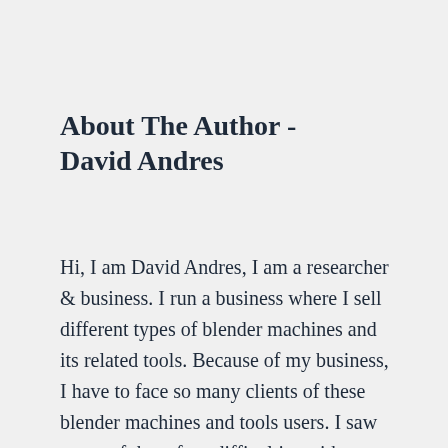About The Author - David Andres
Hi, I am David Andres, I am a researcher & business. I run a business where I sell different types of blender machines and its related tools. Because of my business, I have to face so many clients of these blender machines and tools users. I saw many of them face difficulties with installation,